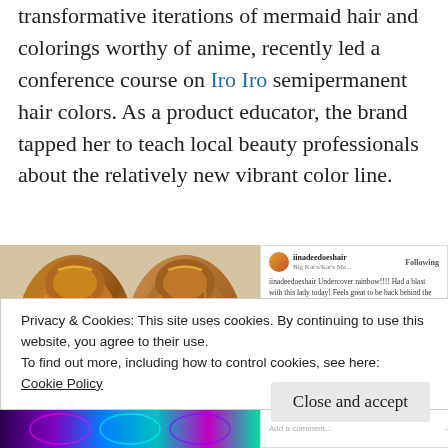transformative iterations of mermaid hair and colorings worthy of anime, recently led a conference course on Iro Iro semipermanent hair colors. As a product educator, the brand tapped her to teach local beauty professionals about the relatively new vibrant color line.
[Figure (photo): Instagram post showing the back of a person's head with brown hair styled in an updo, with hidden rainbow/colorful underlayer visible. Sidebar shows Instagram username 'iinadeedoeshair', 'Big Kat's/Kat's Me...' with Following button and caption text with hashtags about undercover rainbow hair, houston salon, color specialist.]
Privacy & Cookies: This site uses cookies. By continuing to use this website, you agree to their use.
To find out more, including how to control cookies, see here: Cookie Policy
Close and accept